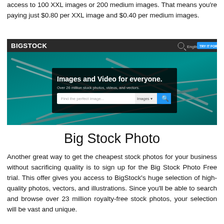access to 100 XXL images or 200 medium images. That means you're paying just $0.80 per XXL image and $0.40 per medium images.
[Figure (screenshot): Screenshot of Bigstock website homepage showing surgical scissors/tools on teal background, with tagline 'Images and Video for everyone. Over 26 million stock photos, videos, and vectors.' and a search bar.]
Big Stock Photo
Another great way to get the cheapest stock photos for your business without sacrificing quality is to sign up for the Big Stock Photo Free trial. This offer gives you access to BigStock's huge selection of high-quality photos, vectors, and illustrations. Since you'll be able to search and browse over 23 million royalty-free stock photos, your selection will be vast and unique.